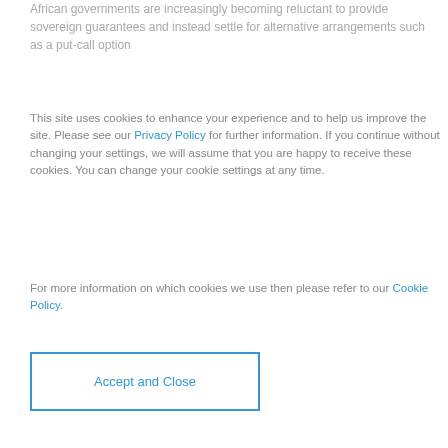African governments are increasingly becoming reluctant to provide sovereign guarantees and instead settle for alternative arrangements such as a put-call option
This site uses cookies to enhance your experience and to help us improve the site. Please see our Privacy Policy for further information. If you continue without changing your settings, we will assume that you are happy to receive these cookies. You can change your cookie settings at any time.
For more information on which cookies we use then please refer to our Cookie Policy.
Accept and Close